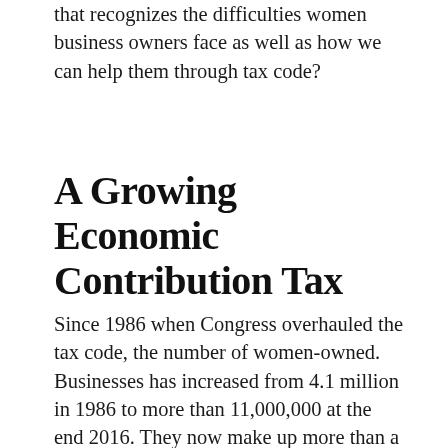that recognizes the difficulties women business owners face as well as how we can help them through tax code?
A Growing Economic Contribution Tax
Since 1986 when Congress overhauled the tax code, the number of women-owned. Businesses has increased from 4.1 million in 1986 to more than 11,000,000 at the end 2016. They now make up more than a quarter of all U.S. companies. They employ 9,000,000 people and